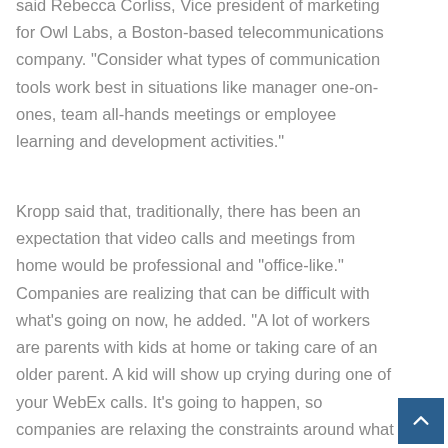said Rebecca Corliss, Vice president of marketing for Owl Labs, a Boston-based telecommunications company. "Consider what types of communication tools work best in situations like manager one-on-ones, team all-hands meetings or employee learning and development activities."
Kropp said that, traditionally, there has been an expectation that video calls and meetings from home would be professional and "office-like." Companies are realizing that can be difficult with what's going on now, he added. "A lot of workers are parents with kids at home or taking care of an older parent. A kid will show up crying during one of your WebEx calls. It's going to happen, so companies are relaxing the constraints around what